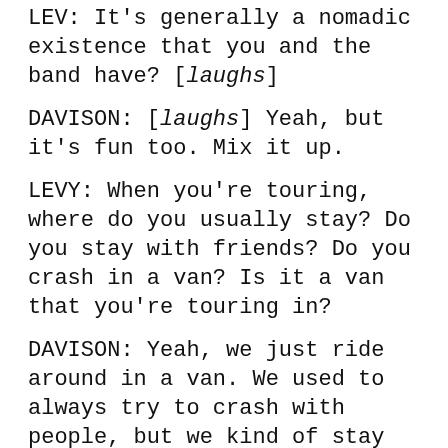LEV: It's generally a nomadic existence that you and the band have? [laughs]
DAVISON: [laughs] Yeah, but it's fun too. Mix it up.
LEVY: When you're touring, where do you usually stay? Do you stay with friends? Do you crash in a van? Is it a van that you're touring in?
DAVISON: Yeah, we just ride around in a van. We used to always try to crash with people, but we kind of stay in a mix between hotels and crashing. It's definitely important–especially on a